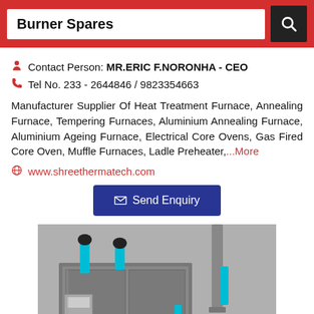Burner Spares
Contact Person: MR.ERIC F.NORONHA - CEO
Tel No. 233 - 2644846 / 9823354663
Manufacturer Supplier Of Heat Treatment Furnace, Annealing Furnace, Tempering Furnaces, Aluminium Annealing Furnace, Aluminium Ageing Furnace, Electrical Core Ovens, Gas Fired Core Oven, Muffle Furnaces, Ladle Preheater,...More
www.shreethermatech.com
✉ Send Enquiry
[Figure (photo): Industrial heat treatment furnace with blue pipes and green cylindrical component, grey metal body with multiple pipe fittings and valves]